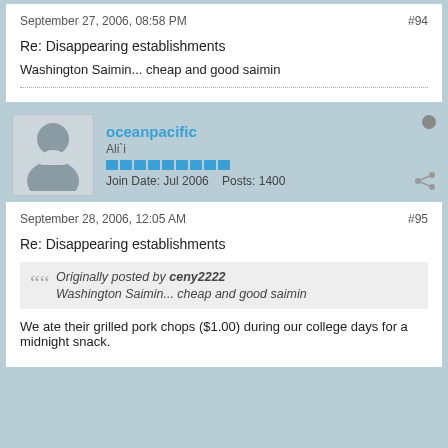September 27, 2006, 08:58 PM
#94
Re: Disappearing establishments
Washington Saimin... cheap and good saimin
[Figure (photo): Default user avatar silhouette]
oceanpacific
Ali`i
Join Date: Jul 2006   Posts: 1400
September 28, 2006, 12:05 AM
#95
Re: Disappearing establishments
Originally posted by ceny2222
Washington Saimin... cheap and good saimin
We ate their grilled pork chops ($1.00) during our college days for a midnight snack.